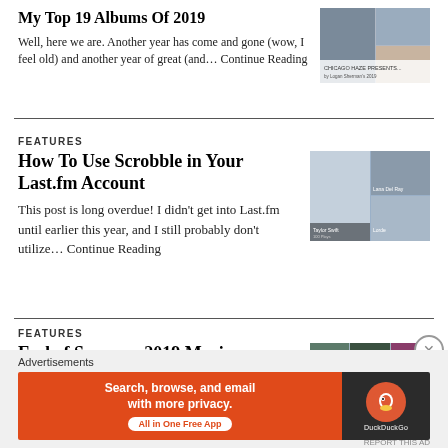My Top 19 Albums Of 2019
Well, here we are. Another year has come and gone (wow, I feel old) and another year of great (and… Continue Reading
FEATURES
How To Use Scrobble in Your Last.fm Account
This post is long overdue! I didn't get into Last.fm until earlier this year, and I still probably don't utilize… Continue Reading
FEATURES
End of Summer 2019 Music Preview…
Advertisements
[Figure (infographic): DuckDuckGo advertisement banner: Search, browse, and email with more privacy. All in One Free App]